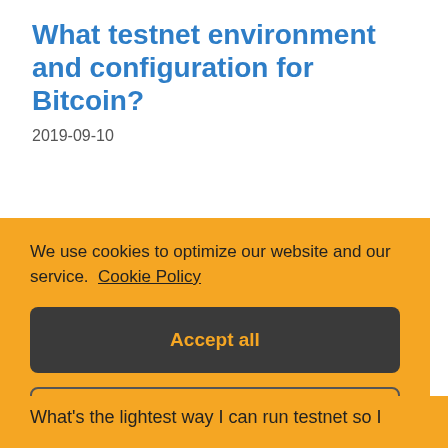What testnet environment and configuration for Bitcoin?
2019-09-10
We use cookies to optimize our website and our service.  Cookie Policy
Accept all
Functional only
View preferences
What's the lightest way I can run testnet so I